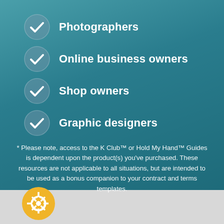Photographers
Online business owners
Shop owners
Graphic designers
* Please note, access to the K Club™ or Hold My Hand™ Guides is dependent upon the product(s) you've purchased. These resources are not applicable to all situations, but are intended to be used as a bonus companion to your contract and terms templates.
[Figure (logo): Yellow circular icon with a lifebuoy/help symbol]